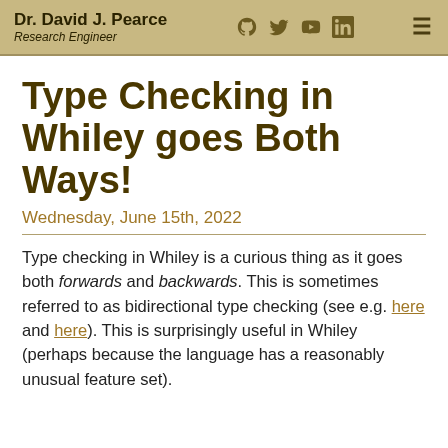Dr. David J. Pearce — Research Engineer
Type Checking in Whiley goes Both Ways!
Wednesday, June 15th, 2022
Type checking in Whiley is a curious thing as it goes both forwards and backwards. This is sometimes referred to as bidirectional type checking (see e.g. here and here). This is surprisingly useful in Whiley (perhaps because the language has a reasonably unusual feature set).